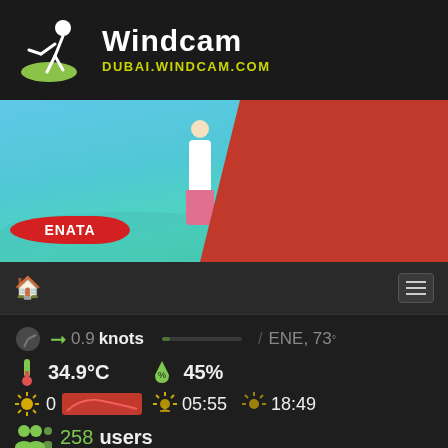[Figure (logo): Windcam logo with windsurfer icon and text 'Windcam' and 'DUBAI.WINDCAM.COM']
[Figure (photo): Banner showing a person doing water sports (SUP/paddleboard) with ENATA branding, blue ocean background, with red diagonal overlay on right side]
0.9 knots / ENE, 73°
34.9°C
45%
0 05:55 18:49
258 users
Classifieds